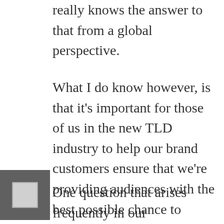really knows the answer to that from a global perspective.
What I do know however, is that it's important for those of us in the new TLD industry to help our brand customers ensure that we're providing audiences with the best possible chance to identify new domains as legitimate web addresses.
One question that arises frequently in our conversations with .brands is about just how to represent .brand